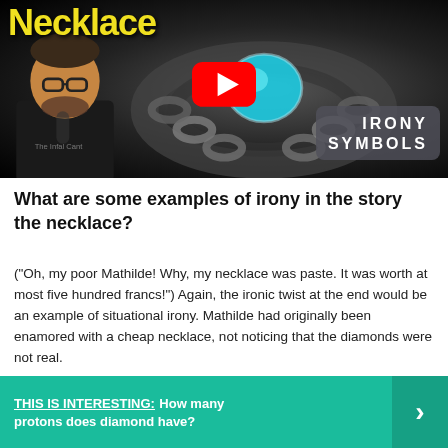[Figure (screenshot): YouTube video thumbnail showing a necklace with a teal gemstone, a man with glasses and beard (The Infal Cant), a YouTube play button in the center, the word 'Necklace' in yellow bold text top-left, and 'IRONY SYMBOLS' text in a semi-transparent gray box bottom-right.]
What are some examples of irony in the story the necklace?
("Oh, my poor Mathilde! Why, my necklace was paste. It was worth at most five hundred francs!") Again, the ironic twist at the end would be an example of situational irony. Mathilde had originally been enamored with a cheap necklace, not noticing that the diamonds were not real.
THIS IS INTERESTING:  How many protons does diamond have?